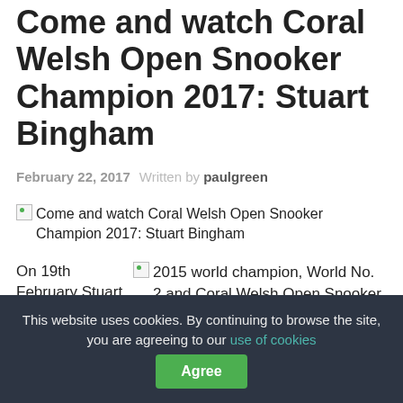Come and watch Coral Welsh Open Snooker Champion 2017: Stuart Bingham
February 22, 2017   Written by paulgreen
[Figure (photo): Broken image placeholder for Come and watch Coral Welsh Open Snooker Champion 2017: Stuart Bingham]
On 19th February Stuart Bingham beat Judd Trump
[Figure (photo): Broken image placeholder for 2015 world champion, World No. 2 and Coral Welsh Open Snooker Champion 2017 STUART BINGHAM]
This website uses cookies. By continuing to browse the site, you are agreeing to our use of cookies   Agree